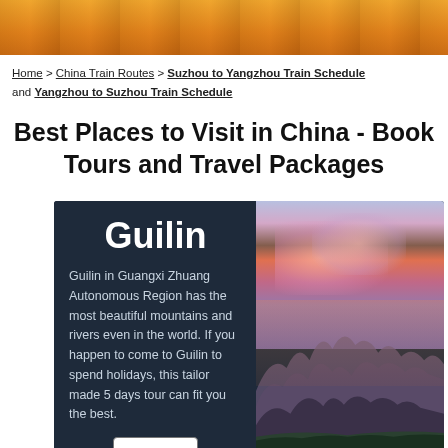[Figure (photo): Top banner with orange gradient and scenic background photo strip]
Home > China Train Routes > Suzhou to Yangzhou Train Schedule and Yangzhou to Suzhou Train Schedule
Best Places to Visit in China - Book Tours and Travel Packages
[Figure (infographic): Card with dark navy background showing Guilin city info on the left (title 'Guilin', descriptive text, Details button) and a scenic photo of Guilin mountains at sunset on the right]
Guilin in Guangxi Zhuang Autonomous Region has the most beautiful mountains and rivers even in the world. If you happen to come to Guilin to spend holidays, this tailor made 5 days tour can fit you the best.